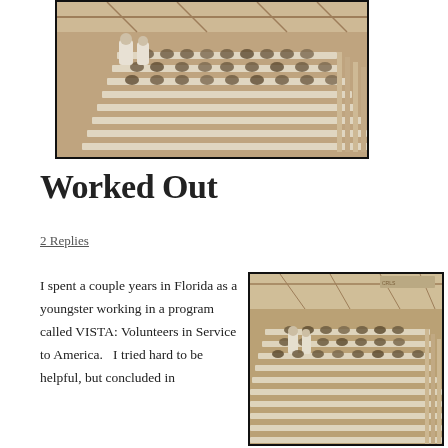[Figure (photo): Black and white / sepia photograph showing a large indoor gathering with rows of white benches and many people seated, viewed from above at an angle. Two figures in white stand in the aisle.]
Worked Out
2 Replies
I spent a couple years in Florida as a youngster working in a program called VISTA: Volunteers in Service to America.   I tried hard to be helpful, but concluded in
[Figure (photo): Sepia photograph of large indoor hall with many rows of white benches filled with people. High vaulted ceiling with trusses. Two figures in white stand in the aisle area.]